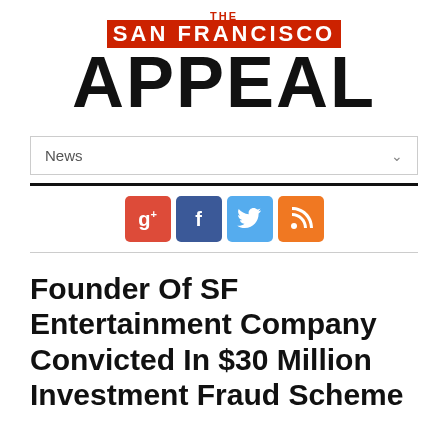[Figure (logo): The San Francisco Appeal newspaper logo with red 'SAN FRANCISCO' banner and large black 'APPEAL' text]
News
[Figure (infographic): Social media icon buttons: Google+, Facebook, Twitter, RSS feed]
Founder Of SF Entertainment Company Convicted In $30 Million Investment Fraud Scheme